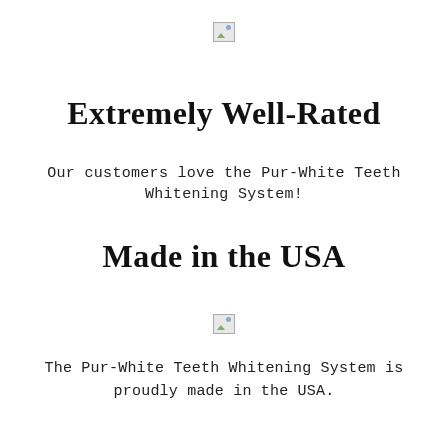[Figure (other): Broken/missing image placeholder at top center]
Extremely Well-Rated
Our customers love the Pur-White Teeth Whitening System!
Made in the USA
[Figure (other): Broken/missing image placeholder bottom center]
The Pur-White Teeth Whitening System is proudly made in the USA.